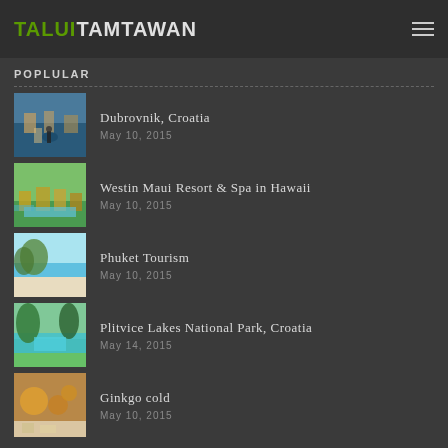TALUITAMTAWAN
POPLULAR
Dubrovnik, Croatia
May 10, 2015
Westin Maui Resort & Spa in Hawaii
May 10, 2015
Phuket Tourism
May 10, 2015
Plitvice Lakes National Park, Croatia
May 14, 2015
Ginkgo cold
May 10, 2015